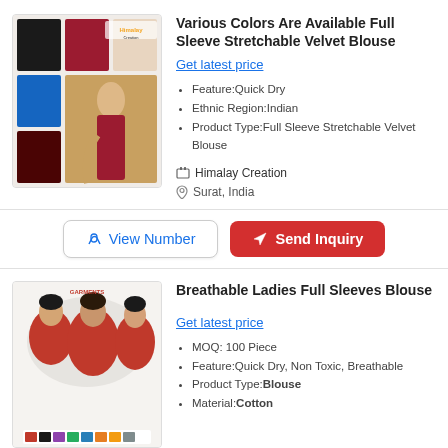Various Colors Are Available Full Sleeve Stretchable Velvet Blouse
Get latest price
Feature:Quick Dry
Ethnic Region:Indian
Product Type:Full Sleeve Stretchable Velvet Blouse
Himalay Creation
Surat, India
View Number | Send Inquiry
[Figure (photo): Product photo showing multiple women wearing colorful full sleeve blouses in black, maroon, blue and other colors. Himalay Creation logo visible.]
Breathable Ladies Full Sleeves Blouse
Get latest price
MOQ: 100 Piece
Feature:Quick Dry, Non Toxic, Breathable
Product Type:Blouse
Material:Cotton
[Figure (photo): Product photo showing women wearing red full sleeve blouses with color swatches at bottom.]